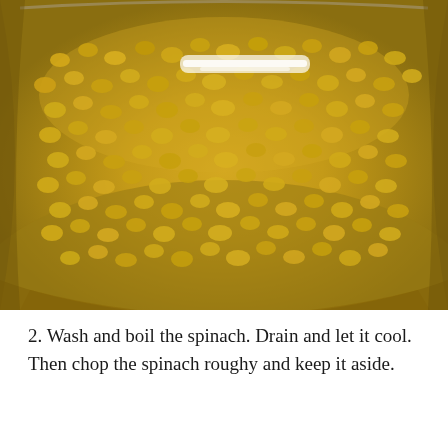[Figure (photo): Close-up photo of yellow lentils (chana dal) boiling in water inside a large pot. The lentils are submerged in yellowish-golden liquid. A utensil reflection is visible on the water surface at the top.]
2. Wash and boil the spinach. Drain and let it cool. Then chop the spinach roughy and keep it aside.